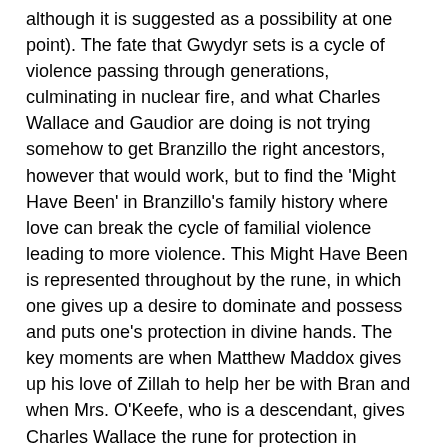although it is suggested as a possibility at one point). The fate that Gwydyr sets is a cycle of violence passing through generations, culminating in nuclear fire, and what Charles Wallace and Gaudior are doing is not trying somehow to get Branzillo the right ancestors, however that would work, but to find the 'Might Have Been' in Branzillo's family history where love can break the cycle of familial violence leading to more violence. This Might Have Been is represented throughout by the rune, in which one gives up a desire to dominate and possess and puts one's protection in divine hands. The key moments are when Matthew Maddox gives up his love of Zillah to help her be with Bran and when Mrs. O'Keefe, who is a descendant, gives Charles Wallace the rune for protection in memory of her brother, who was disabled and eventually died because of an abusive stepfather. This is also the theme indicated by the title, which is from a poem by Conrad Aiken, in which small things touch on the universe.
Many Waters can in some ways be regarded as an appendix; we get an adventure involving the Murry middle children, the twins Sandy and Dennys, who accidentally interfere with one of the experiments being run by their father